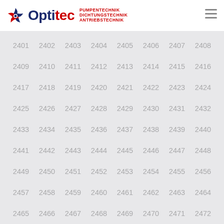[Figure (logo): Optitec logo with gear/fan icon, blue and red text, taglines: PUMPENTECHNIK, DICHTUNGSTECHNIK, ANTRIEBSTECHNIK]
2401 2402 2403 2404 2405 2406 2407 2408 2409 2410 2411 2412 2413 2414 2415 2416 2417 2418 2419 2420 2421 2422 2423 2424 2425 2426 2427 2428 2429 2430 2431 2432 2433 2434 2435 2436 2437 2438 2439 2440 2441 2442 2443 2444 2445 2446 2447 2448 2449 2450 2451 2452 2453 2454 2455 2456 2457 2458 2459 2460 2461 2462 2463 2464 2465 2466 2467 2468 2469 2470 2471 2472 2473 2474 2475 2476 2477 2478 2479 2480 2481 2482 2483 2484 2485 2486 2487 2488